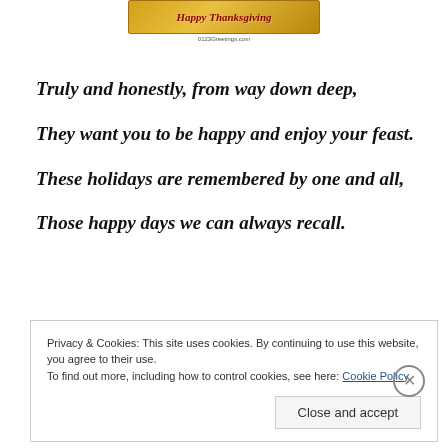[Figure (illustration): Happy Thanksgiving greeting card image with golden/amber tones and script text reading 'Happy Thanksgiving', with small text '0123Greetings.com' below]
Truly and honestly, from way down deep,
They want you to be happy and enjoy your feast.
These holidays are remembered by one and all,
Those happy days we can always recall.
Privacy & Cookies: This site uses cookies. By continuing to use this website, you agree to their use.
To find out more, including how to control cookies, see here: Cookie Policy